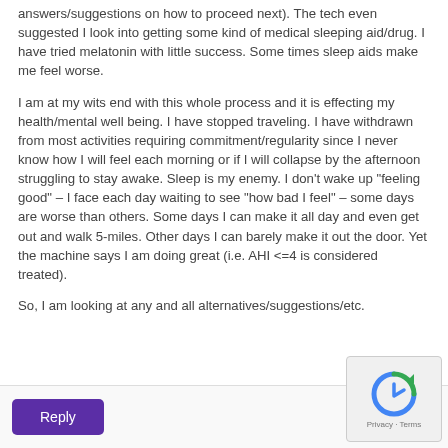answers/suggestions on how to proceed next). The tech even suggested I look into getting some kind of medical sleeping aid/drug. I have tried melatonin with little success. Some times sleep aids make me feel worse.
I am at my wits end with this whole process and it is effecting my health/mental well being. I have stopped traveling. I have withdrawn from most activities requiring commitment/regularity since I never know how I will feel each morning or if I will collapse by the afternoon struggling to stay awake. Sleep is my enemy. I don't wake up "feeling good" – I face each day waiting to see "how bad I feel" – some days are worse than others. Some days I can make it all day and even get out and walk 5-miles. Other days I can barely make it out the door. Yet the machine says I am doing great (i.e. AHI <=4 is considered treated).
So, I am looking at any and all alternatives/suggestions/etc.